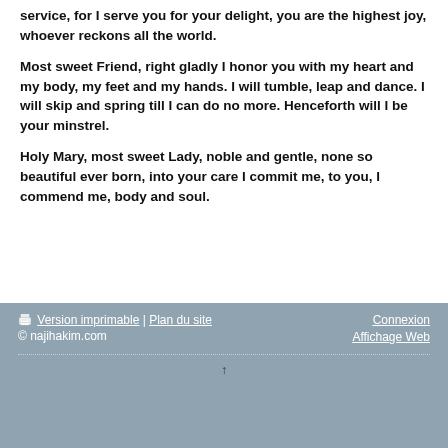service, for I serve you for your delight, you are the highest joy, whoever reckons all the world.
Most sweet Friend, right gladly I honor you with my heart and my body, my feet and my hands. I will tumble, leap and dance. I will skip and spring till I can do no more. Henceforth will I be your minstrel.
Holy Mary, most sweet Lady, noble and gentle, none so beautiful ever born, into your care I commit me, to you, I commend me, body and soul.
Version imprimable | Plan du site   Connexion
© najihakim.com   Affichage Web